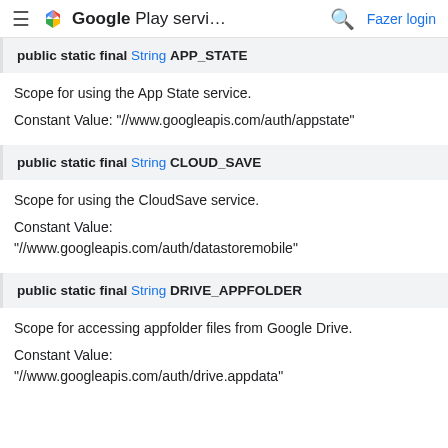Google Play servi... Fazer login
public static final String APP_STATE
Scope for using the App State service.
Constant Value: "//www.googleapis.com/auth/appstate"
public static final String CLOUD_SAVE
Scope for using the CloudSave service.
Constant Value: "//www.googleapis.com/auth/datastoremobile"
public static final String DRIVE_APPFOLDER
Scope for accessing appfolder files from Google Drive.
Constant Value:
"//www.googleapis.com/auth/drive.appdata"